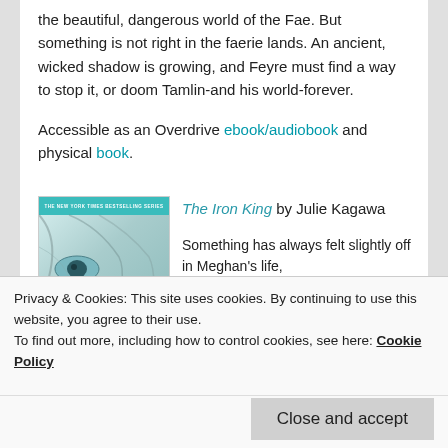the beautiful, dangerous world of the Fae. But something is not right in the faerie lands. An ancient, wicked shadow is growing, and Feyre must find a way to stop it, or doom Tamlin-and his world-forever.
Accessible as an Overdrive ebook/audiobook and physical book.
[Figure (photo): Book cover of The Iron King by Julie Kagawa, showing a close-up of a young woman's face with teal/green tones, with a teal banner at top reading 'THE NEW YORK TIMES BESTSELLING SERIES', author name JULIE KAGAWA at bottom]
The Iron King by Julie Kagawa

Something has always felt slightly off in Meghan's life,
Privacy & Cookies: This site uses cookies. By continuing to use this website, you agree to their use.
To find out more, including how to control cookies, see here: Cookie Policy
Close and accept